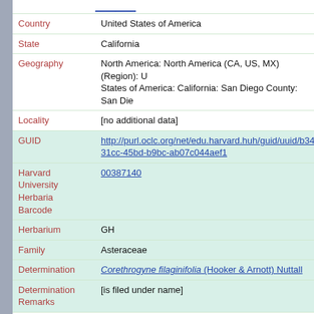| Field | Value |
| --- | --- |
| Country | United States of America |
| State | California |
| Geography | North America: North America (CA, US, MX) (Region): United States of America: California: San Diego County: San Die… |
| Locality | [no additional data] |
| GUID | http://purl.oclc.org/net/edu.harvard.huh/guid/uuid/b34...31cc-45bd-b9bc-ab07c044aef1 |
| Harvard University Herbaria Barcode | 00387140 |
| Herbarium | GH |
| Family | Asteraceae |
| Determination | Corethrogyne filaginifolia (Hooker & Arnott) Nuttall |
| Determination Remarks | [is filed under name] |
| Family | Asteraceae |
| Determination | Corethrogyne filaginifolia (Hooker & Arnott) Nuttall |
| Determined by | Saroyan, J. Phillip |
| Date Determined | 1976 |